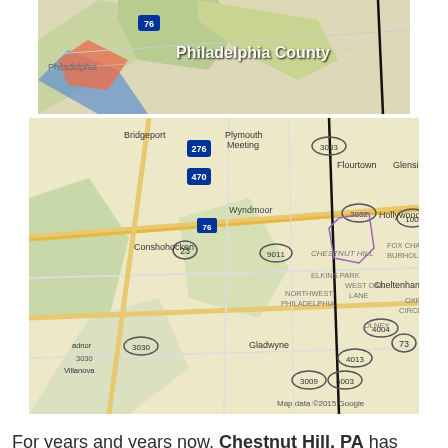[Figure (map): Aerial/satellite style map showing Philadelphia County area with colored overlay including route 76]
[Figure (map): Road map showing Chestnut Hill PA area with surrounding neighborhoods including Bridgeport, Plymouth Meeting, Flourtown, Glenside, Wyndmoor, Conshohocken, Gladwyne, Cheltenham, and various route numbers (276, 470, 23, 76, 9011, 3003, 2032, 3030, 4004, 4013, 3009, 4003, 73). Map data copyright 2015 Google.]
For years and years now, Chestnut Hill, PA has seen great things over the passage of time. Geographically speaking, the borders of Chestnut Hill, PA are as follow, The Northwestern Avenue up north, the Wissahickon Gorge to the west, Stenton Avenue on the eastern border and the Cresheim Valley down south. In historic times, Chestnut Hill, PA served as an entry between Philadelphia and some major farmlands, and was considered as one of the more